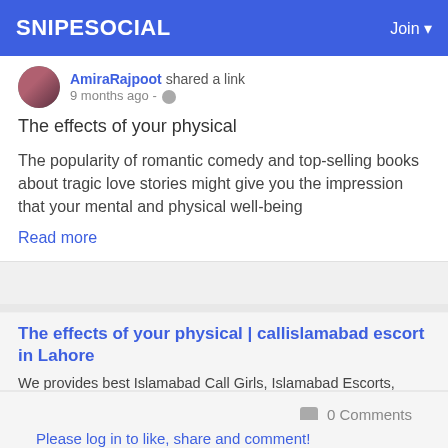SNIPESOCIAL   Join
AmiraRajpoot shared a link
9 months ago - 🌐
The effects of your physical
The popularity of romantic comedy and top-selling books about tragic love stories might give you the impression that your mental and physical well-being
Read more
The effects of your physical | callislamabad escort in Lahore
We provides best Islamabad Call Girls, Islamabad Escorts, Models Escorts, etc.
0 Comments
Please log in to like, share and comment!